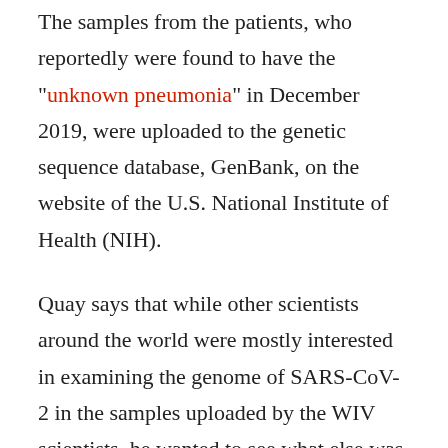The samples from the patients, who reportedly were found to have the "unknown pneumonia" in December 2019, were uploaded to the genetic sequence database, GenBank, on the website of the U.S. National Institute of Health (NIH).
Quay says that while other scientists around the world were mostly interested in examining the genome of SARS-CoV-2 in the samples uploaded by the WIV scientists, he wanted to see what else was in the samples collected from the patients.
So he collaborated with a few other scientists to analyze sequences from the samples.